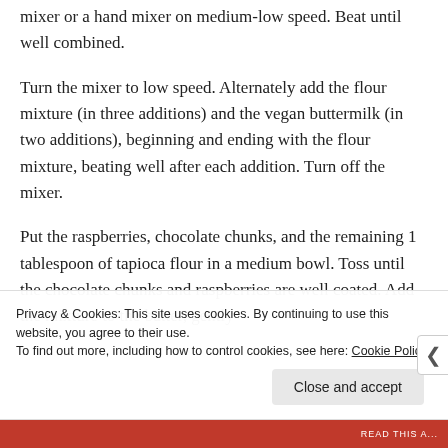mixer or a hand mixer on medium-low speed. Beat until well combined.
Turn the mixer to low speed. Alternately add the flour mixture (in three additions) and the vegan buttermilk (in two additions), beginning and ending with the flour mixture, beating well after each addition. Turn off the mixer.
Put the raspberries, chocolate chunks, and the remaining 1 tablespoon of tapioca flour in a medium bowl. Toss until the chocolate chunks and raspberries are well coated. Add the mixture to the batter, gently
Privacy & Cookies: This site uses cookies. By continuing to use this website, you agree to their use.
To find out more, including how to control cookies, see here: Cookie Policy